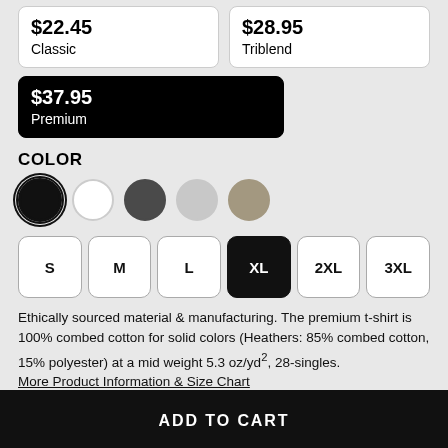$22.45
Classic
$28.95
Triblend
$37.95
Premium
COLOR
[Figure (other): Five color swatches: black (selected), white, dark gray, light gray, tan]
S  M  L  XL  2XL  3XL (size selector, XL selected)
Ethically sourced material & manufacturing. The premium t-shirt is 100% combed cotton for solid colors (Heathers: 85% combed cotton, 15% polyester) at a mid weight 5.3 oz/yd², 28-singles.
More Product Information & Size Chart
ADD TO CART